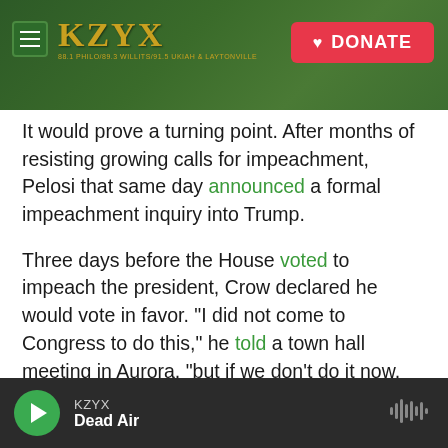[Figure (screenshot): KZYX radio station website header banner with green forest background, hamburger menu icon, KZYX logo in gold, and red DONATE button]
It would prove a turning point. After months of resisting growing calls for impeachment, Pelosi that same day announced a formal impeachment inquiry into Trump.
Three days before the House voted to impeach the president, Crow declared he would vote in favor. "I did not come to Congress to do this," he told a town hall meeting in Aurora, "but if we don't do it now, then when will we?"
On Wednesday, Crow joined the other
[Figure (screenshot): Audio player bar at bottom: green play button, KZYX station label, Dead Air podcast title, audio waveform icon on right]